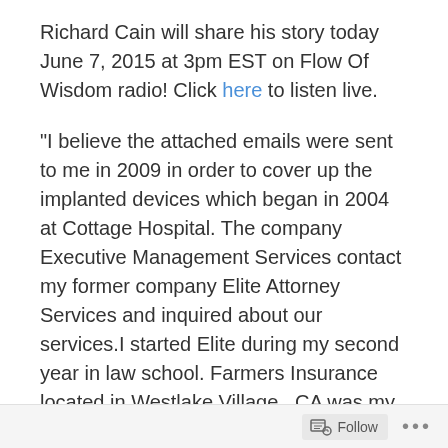Richard Cain will share his story today June 7, 2015 at 3pm EST on Flow Of Wisdom radio! Click here to listen live.
“I believe the attached emails were sent to me in 2009 in order to cover up the implanted devices which began in 2004 at Cottage Hospital. The company Executive Management Services contact my former company Elite Attorney Services and inquired about our services.I started Elite during my second year in law school. Farmers Insurance located in Westlake Village , CA was my biggest client and I was on my way up when strange things began occurring.
Executive Management Services stated that they obtained my information from the NARPS (National Association of
Follow ...